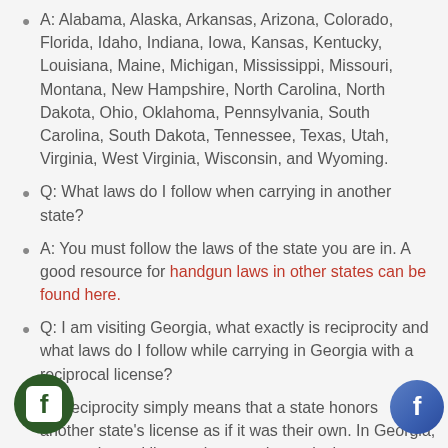A: Alabama, Alaska, Arkansas, Arizona, Colorado, Florida, Idaho, Indiana, Iowa, Kansas, Kentucky, Louisiana, Maine, Michigan, Mississippi, Missouri, Montana, New Hampshire, North Carolina, North Dakota, Ohio, Oklahoma, Pennsylvania, South Carolina, South Dakota, Tennessee, Texas, Utah, Virginia, West Virginia, Wisconsin, and Wyoming.
Q: What laws do I follow when carrying in another state?
A: You must follow the laws of the state you are in. A good resource for handgun laws in other states can be found here.
Q: I am visiting Georgia, what exactly is reciprocity and what laws do I follow while carrying in Georgia with a reciprocal license?
A: Reciprocity simply means that a state honors another state's license as if it was their own. In Georgia, your reciprocal license is treated exactly the